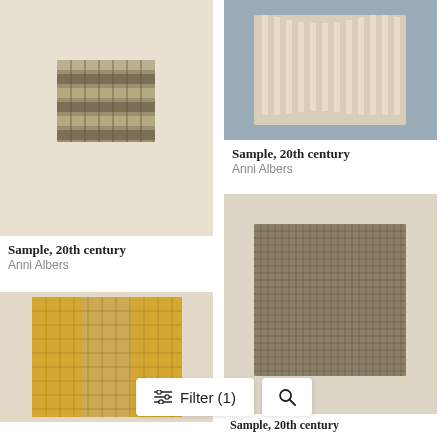[Figure (photo): Textile fabric sample swatch, woven metallic thread pattern, square shape on cream background]
Sample, 20th century
Anni Albers
[Figure (photo): Textile sample with vertical ribbed/pleated structure on gray background]
Sample, 20th century
Anni Albers
[Figure (photo): Woven textile sample with open grid weave in khaki/tan on cream background]
[Figure (photo): Textile sample with orange and tan open weave grid on cream background (partial, cut off at bottom)]
Sample, 20th century